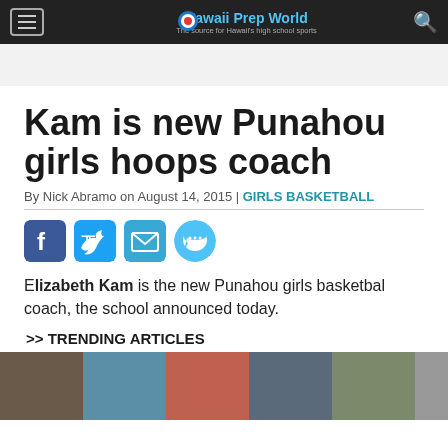Hawaii Prep World — The source for Hawaii's high school sports
Kam is new Punahou girls hoops coach
By Nick Abramo on August 14, 2015 | GIRLS BASKETBALL
[Figure (infographic): Social media sharing icons: Facebook, Twitter, Email, Messenger]
Elizabeth Kam is the new Punahou girls basketbal coach, the school announced today.
>> TRENDING ARTICLES
[Figure (photo): Row of trending article thumbnail photos showing student athletes]